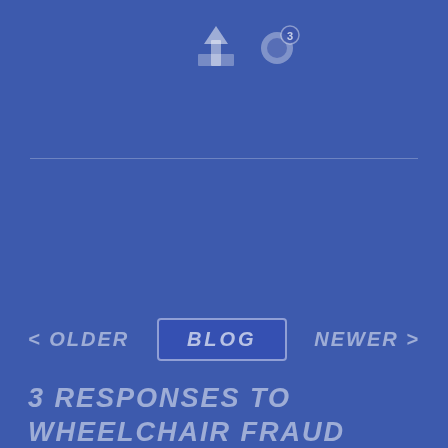[Figure (other): Share icon and comment count icon at top of page]
< OLDER
BLOG
NEWER >
3 RESPONSES TO WHEELCHAIR FRAUD
YODA says:
February 23, 2016 at 10:40 am
I don't use a wheelchair but I do end up feeling the need to justify myself pretty…